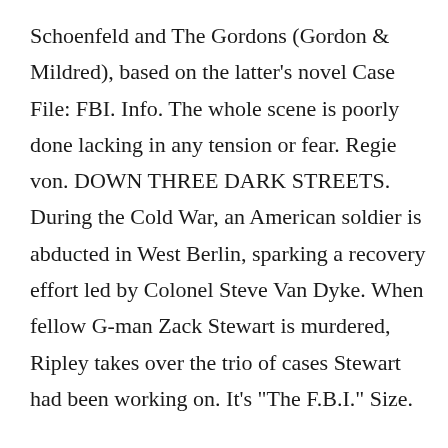Schoenfeld and The Gordons (Gordon & Mildred), based on the latter's novel Case File: FBI. Info. The whole scene is poorly done lacking in any tension or fear. Regie von. DOWN THREE DARK STREETS. During the Cold War, an American soldier is abducted in West Berlin, sparking a recovery effort led by Colonel Steve Van Dyke. When fellow G-man Zack Stewart is murdered, Ripley takes over the trio of cases Stewart had been working on. It's "The F.B.I." Size.